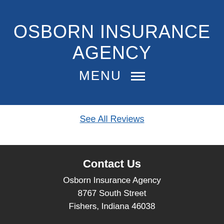OSBORN INSURANCE AGENCY
MENU ≡
See All Reviews
Contact Us
Osborn Insurance Agency
8767 South Street
Fishers, Indiana 46038